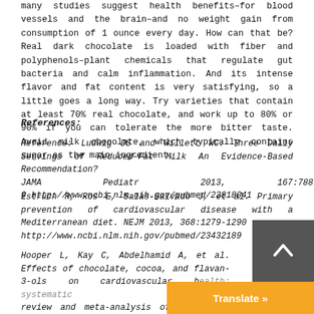many studies suggest health benefits–for blood vessels and the brain–and no weight gain from consumption of 1 ounce every day. How can that be? Real dark chocolate is loaded with fiber and polyphenols–plant chemicals that regulate gut bacteria and calm inflammation. And its intense flavor and fat content is very satisfying, so a little goes a long way. Try varieties that contain at least 70% real chocolate, and work up to 80% or 90% if you can tolerate the more bitter taste. Avoid milk chocolate, which typically contains sugar as the main ingredient.
References:
Reference: Ludwig DS and Willett WC. Three Daily Servings of Reduced-Fat Milk An Evidence-Based Recommendation? JAMA Pediatr 2013, 167:788-9 http://www.ncbi.nlm.nih.gov/pubmed/23818041
Estruch R, Ros E, Salas-Salvado J, et al. Primary prevention of cardiovascular disease with a Mediterranean diet. NEJM 2013, 368:1279-1290 http://www.ncbi.nlm.nih.gov/pubmed/23432189
Hooper L, Kay C, Abdelhamid A, et al. Effects of chocolate, cocoa, and flavan-3-ols on cardiovascular h... review and meta-analysis of randomized tria...